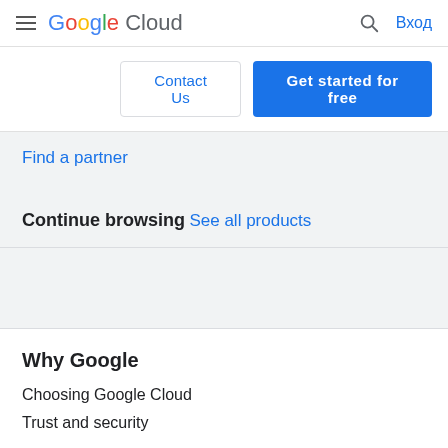Google Cloud | Вход
Contact Us | Get started for free
Find a partner
Continue browsing
See all products
Why Google
Choosing Google Cloud
Trust and security